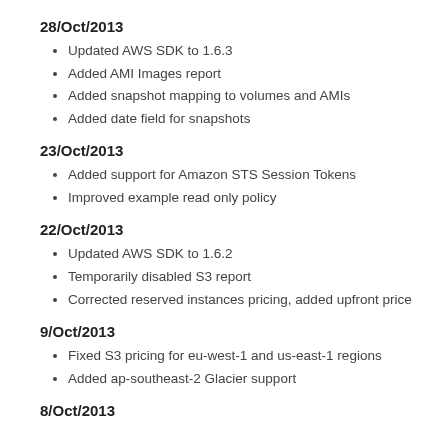28/Oct/2013
Updated AWS SDK to 1.6.3
Added AMI Images report
Added snapshot mapping to volumes and AMIs
Added date field for snapshots
23/Oct/2013
Added support for Amazon STS Session Tokens
Improved example read only policy
22/Oct/2013
Updated AWS SDK to 1.6.2
Temporarily disabled S3 report
Corrected reserved instances pricing, added upfront price
9/Oct/2013
Fixed S3 pricing for eu-west-1 and us-east-1 regions
Added ap-southeast-2 Glacier support
8/Oct/2013